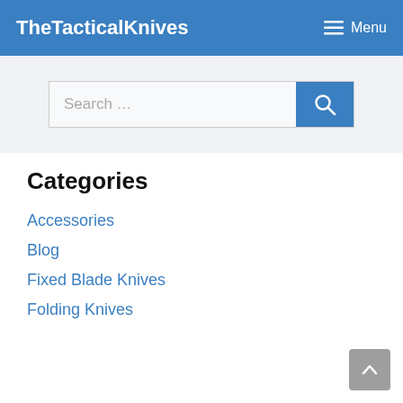TheTacticalKnives   ☰ Menu
[Figure (screenshot): Search bar with text 'Search ...' and a blue search button with magnifying glass icon]
Categories
Accessories
Blog
Fixed Blade Knives
Folding Knives